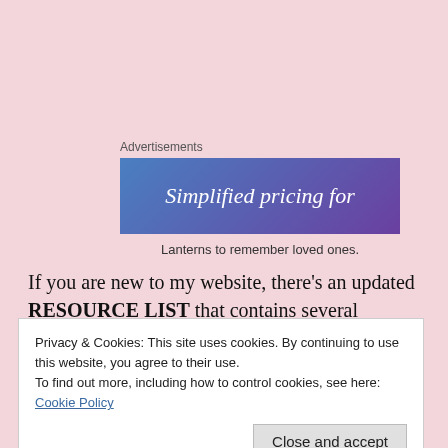Advertisements
[Figure (other): Advertisement banner with blue-to-purple gradient background reading 'Simplified pricing for']
Lanterns to remember loved ones.
If you are new to my website, there’s an updated RESOURCE LIST that contains several articles on helping children/teens with grief.
www.jonihaypatras.com
Privacy & Cookies: This site uses cookies. By continuing to use this website, you agree to their use.
To find out more, including how to control cookies, see here: Cookie Policy